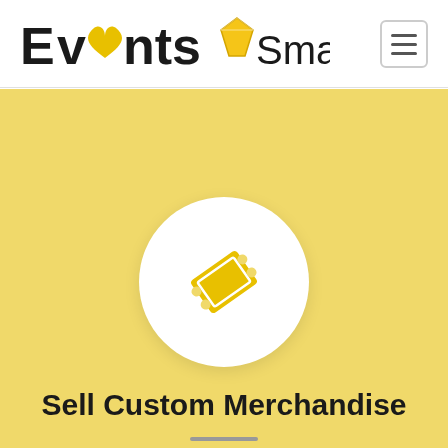[Figure (logo): EventsSmarter logo with diamond and heart icons in the wordmark]
[Figure (illustration): White circle on yellow background containing a golden ticket icon]
Sell Custom Merchandise
Click here to set up your shop and sell customer merch and products at your event. We handle the fulfillment process so you